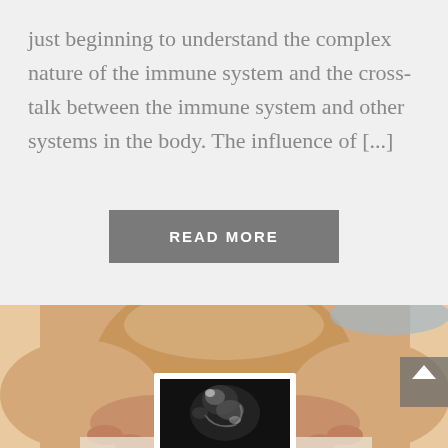just beginning to understand the complex nature of the immune system and the cross-talk between the immune system and other systems in the body. The influence of [...]
READ MORE
[Figure (photo): A pregnant woman holding a black-and-white ultrasound photo in front of her abdomen. The woman's midsection is visible, with hands holding a polaroid-style ultrasound image showing a fetus.]